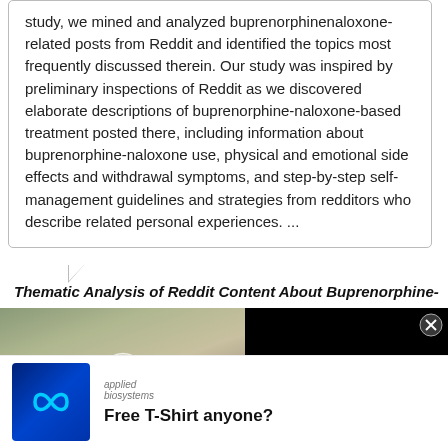study, we mined and analyzed buprenorphinenaloxone-related posts from Reddit and identified the topics most frequently discussed therein. Our study was inspired by preliminary inspections of Reddit as we discovered elaborate descriptions of buprenorphine-naloxone-based treatment posted there, including information about buprenorphine-naloxone use, physical and emotional side effects and withdrawal symptoms, and step-by-step self-management guidelines and strategies from redditors who describe related personal experiences. ...
Thematic Analysis of Reddit Content About Buprenorphine-
[Figure (screenshot): Video overlay showing people in a meeting room with text 'ARE MARKETING BUDGETS ON AUTOPILOT?' and a play button. Right panel shows black background with text 'Are marketing budgets on autopilot?' and a close button.]
[Figure (screenshot): Advertisement for Applied Biosystems showing a blue infinity logo and text 'Free T-Shirt anyone?']